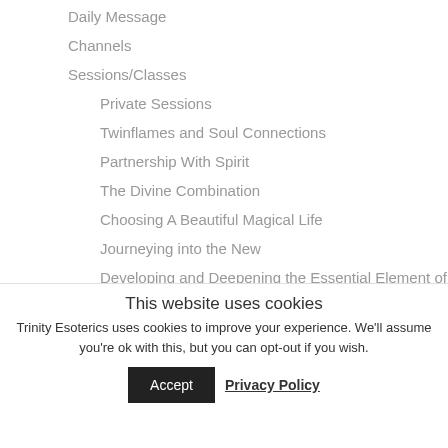Daily Message
Channels
Sessions/Classes
Private Sessions
Twinflames and Soul Connections
Partnership With Spirit
The Divine Combination
Choosing A Beautiful Magical Life
Journeying into the New
Developing and Deepening the Essential Element of Trust
This website uses cookies
Trinity Esoterics uses cookies to improve your experience. We'll assume you're ok with this, but you can opt-out if you wish.
Accept
Privacy Policy